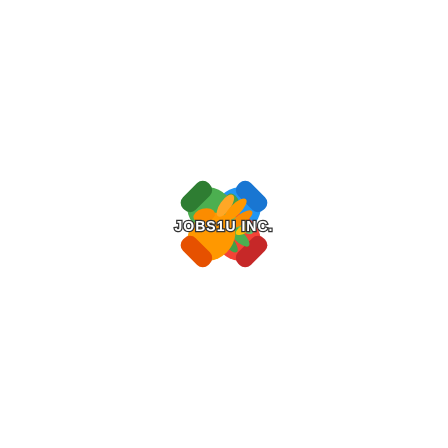[Figure (logo): JOBS1U INC. logo featuring four colorful handprints arranged in a pinwheel pattern (blue top-left, red top-right, green bottom-left, orange/yellow bottom-right) with the text 'JOBS1U INC.' overlaid in the center in a bold stylized font with dark outline.]